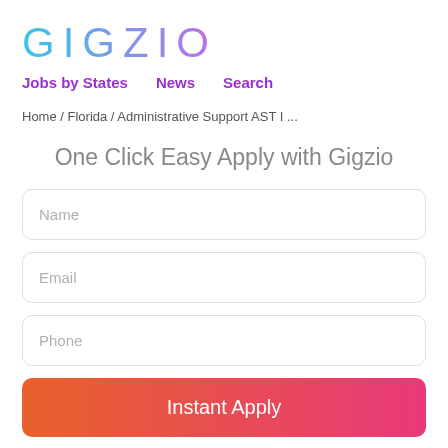GIGZIO
Jobs by States   News   Search
Home / Florida / Administrative Support AST I ...
One Click Easy Apply with Gigzio
Name
Email
Phone
Instant Apply